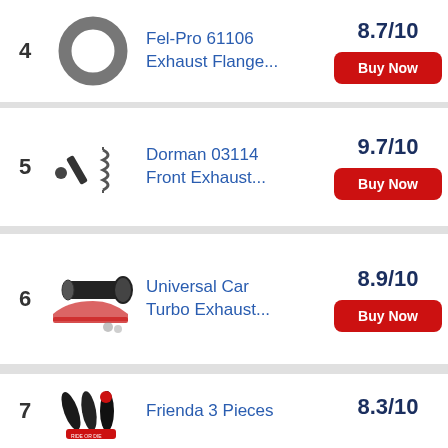4 Fel-Pro 61106 Exhaust Flange... 8.7/10 Buy Now
5 Dorman 03114 Front Exhaust... 9.7/10 Buy Now
6 Universal Car Turbo Exhaust... 8.9/10 Buy Now
7 Frienda 3 Pieces 8.3/10